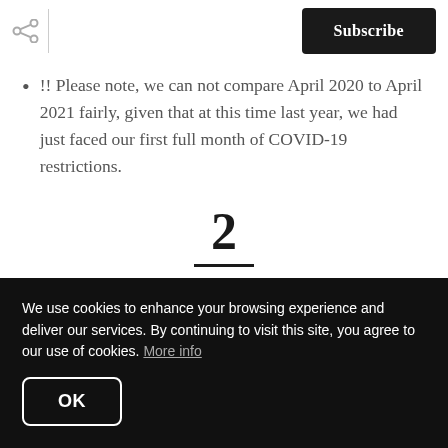Subscribe
!! Please note, we can not compare April 2020 to April 2021 fairly, given that at this time last year, we had just faced our first full month of COVID-19 restrictions.
2
What does this mean?
We use cookies to enhance your browsing experience and deliver our services. By continuing to visit this site, you agree to our use of cookies. More info
OK